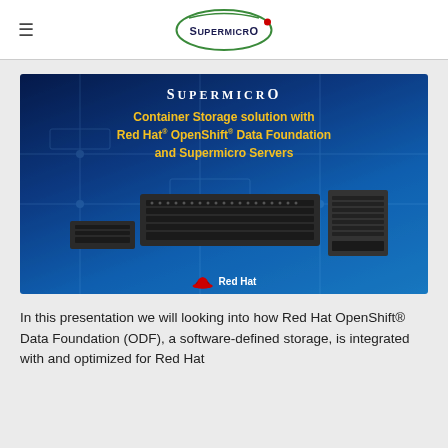Supermicro
[Figure (illustration): Supermicro promotional banner showing 'Container Storage solution with Red Hat OpenShift Data Foundation and Supermicro Servers' with server hardware images and Red Hat logo on a blue background]
In this presentation we will looking into how Red Hat OpenShift® Data Foundation (ODF), a software-defined storage, is integrated with and optimized for Red Hat